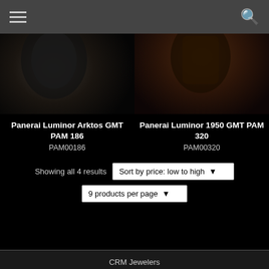[Figure (photo): Two luxury watch product photos side by side on dark backgrounds. Left: Panerai watch on black. Right: Panerai watch with brown leather strap on dark background.]
Panerai Luminor Arktos GMT PAM 186
PAM00186
Panerai Luminor 1950 GMT PAM 320
PAM00320
Showing all 4 results
Sort by price: low to high
9 products per page
CRM Jewelers
58 NE 1st ST MIAMI, FL 33132
Phone: 305-349-5000
Terms & Conditions | Privacy Policy | Site Map | Contact
The watch brands and trademarks are the property of their respective holders. CRM Jewelers is not affiliated with any of the...